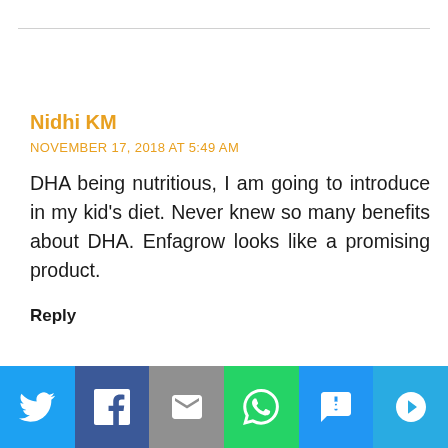Nidhi KM
NOVEMBER 17, 2018 AT 5:49 AM
DHA being nutritious, I am going to introduce in my kid’s diet. Never knew so many benefits about DHA. Enfagrow looks like a promising product.
Reply
[Figure (infographic): Social sharing bar with icons for Twitter, Facebook, Email, WhatsApp, SMS, and a copy/share button on colored backgrounds.]